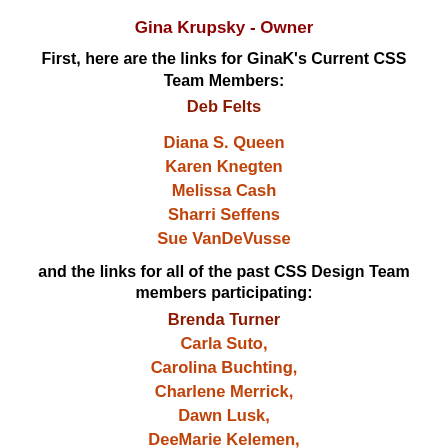Gina Krupsky - Owner
First, here are the links for GinaK's Current CSS Team Members:
Deb Felts
Diana S. Queen
Karen Knegten
Melissa Cash
Sharri Seffens
Sue VanDeVusse
and the links for all of the past CSS Design Team members participating:
Brenda Turner
Carla Suto,
Carolina Buchting,
Charlene Merrick,
Dawn Lusk,
DeeMarie Kelemen,
Gori Utterback